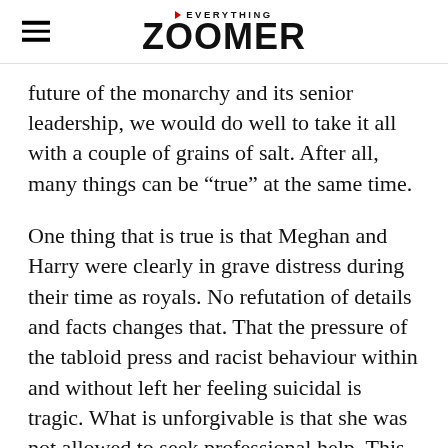→EVERYTHING ZOOMER
future of the monarchy and its senior leadership, we would do well to take it all with a couple of grains of salt. After all, many things can be “true” at the same time.
One thing that is true is that Meghan and Harry were clearly in grave distress during their time as royals. No refutation of details and facts changes that. That the pressure of the tabloid press and racist behaviour within and without left her feeling suicidal is tragic. What is unforgivable is that she was not allowed to seek professional help. This from